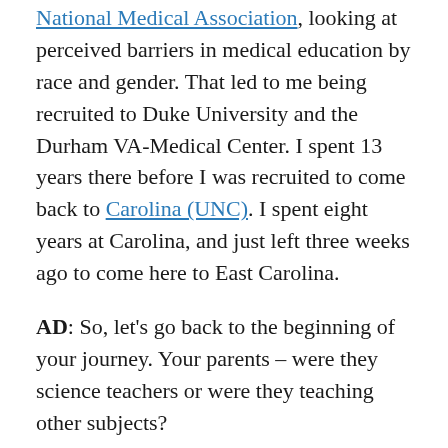National Medical Association, looking at perceived barriers in medical education by race and gender. That led to me being recruited to Duke University and the Durham VA-Medical Center. I spent 13 years there before I was recruited to come back to Carolina (UNC). I spent eight years at Carolina, and just left three weeks ago to come here to East Carolina.
AD: So, let's go back to the beginning of your journey. Your parents – were they science teachers or were they teaching other subjects?
CB: They were general public school teachers. My father taught math and science in middle school, and my mother taught second grade in